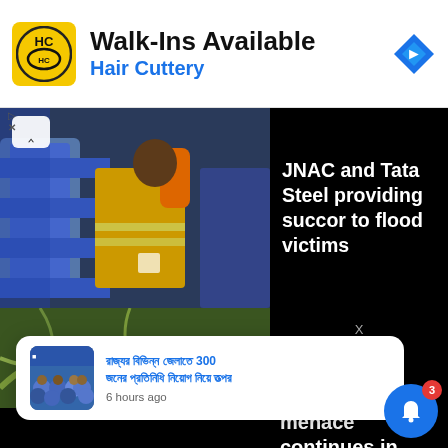[Figure (screenshot): Advertisement banner for Hair Cuttery with yellow logo, text 'Walk-Ins Available' and 'Hair Cuttery', blue navigation diamond icon on right]
[Figure (photo): News article image showing workers in safety vests handling blue and white bags, with text overlay 'JNAC and Tata Steel providing succor to flood victims']
[Figure (photo): Partial news image showing plant roots/tangled vegetation]
[Figure (screenshot): Push notification toast showing a Hindi-language news headline about 300 people, timestamp '6 hours ago', with crowd thumbnail image]
menace continues in